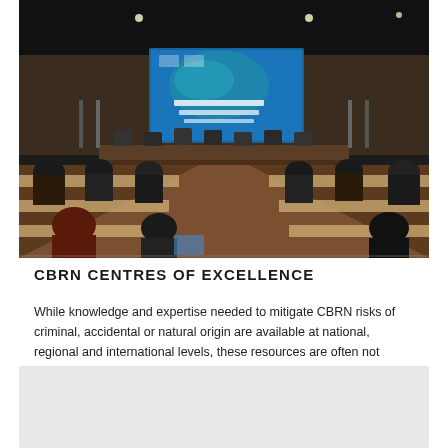[Figure (photo): Conference hall with attendees seated at tables facing a stage with a large screen displaying 'Annual Meeting of the National Focal Points' with a world map graphic. The room is filled with delegates in formal attire.]
CBRN CENTRES OF EXCELLENCE
While knowledge and expertise needed to mitigate CBRN risks of criminal, accidental or natural origin are available at national, regional and international levels, these resources are often not effectively used.
[Figure (other): Grey placeholder box at bottom of page]